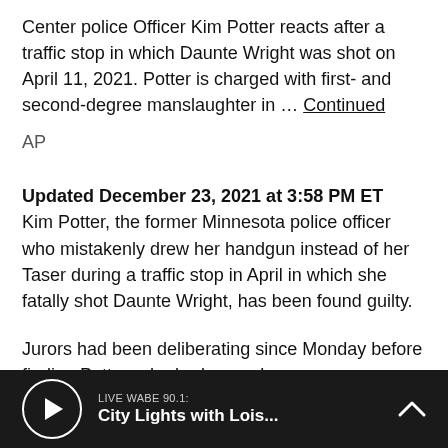Center police Officer Kim Potter reacts after a traffic stop in which Daunte Wright was shot on April 11, 2021. Potter is charged with first- and second-degree manslaughter in … Continued
AP
Updated December 23, 2021 at 3:58 PM ET
Kim Potter, the former Minnesota police officer who mistakenly drew her handgun instead of her Taser during a traffic stop in April in which she fatally shot Daunte Wright, has been found guilty.
Jurors had been deliberating since Monday before finding Potter, who had served as an
LIVE WABE 90.1: City Lights with Lois...